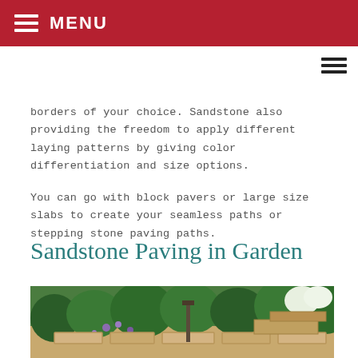MENU
borders of your choice. Sandstone also providing the freedom to apply different laying patterns by giving color differentiation and size options.
You can go with block pavers or large size slabs to create your seamless paths or stepping stone paving paths.
Sandstone Paving in Garden
[Figure (photo): A garden path with sandstone paving slabs surrounded by lush green plants, purple flowers, and white hydrangeas in the background.]